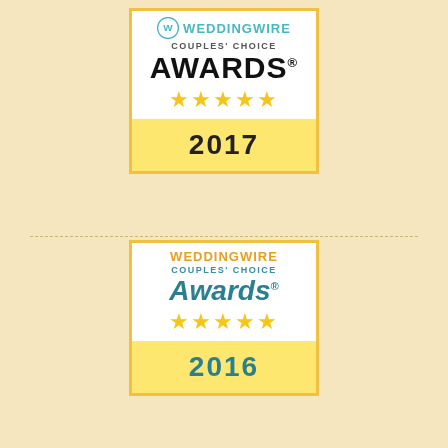[Figure (logo): WeddingWire Couples' Choice Awards 2017 badge with five gold stars]
[Figure (logo): WeddingWire Couples' Choice Awards 2016 badge with five gold stars]